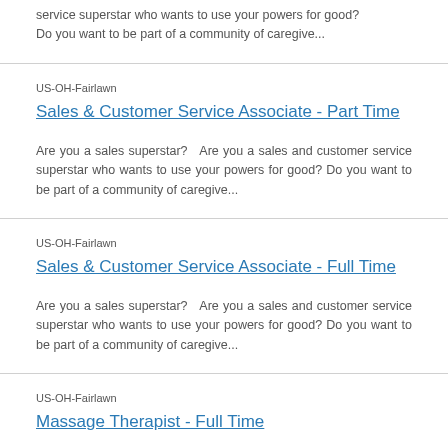service superstar who wants to use your powers for good? Do you want to be part of a community of caregive...
US-OH-Fairlawn
Sales & Customer Service Associate - Part Time
Are you a sales superstar?   Are you a sales and customer service superstar who wants to use your powers for good? Do you want to be part of a community of caregive...
US-OH-Fairlawn
Sales & Customer Service Associate - Full Time
Are you a sales superstar?   Are you a sales and customer service superstar who wants to use your powers for good? Do you want to be part of a community of caregive...
US-OH-Fairlawn
Massage Therapist - Full Time